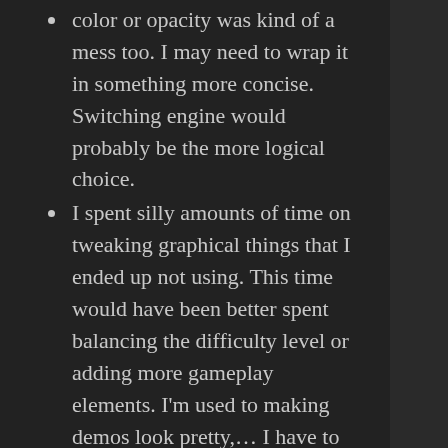color or opacity was kind of a mess too. I may need to wrap it in something more concise. Switching engine would probably be the more logical choice.
I spent silly amounts of time on tweaking graphical things that I ended up not using. This time would have been better spent balancing the difficulty level or adding more gameplay elements. I'm used to making demos look pretty,… I have to remind myself that I'm making a game here.
I may sound like I'm complaining about everything, but I'm actually really happy about how the game turned out. It's fairly fun/challenging and it looks pretty good. I'm still wondering whether I'll release the code because it's kind of a mess. I